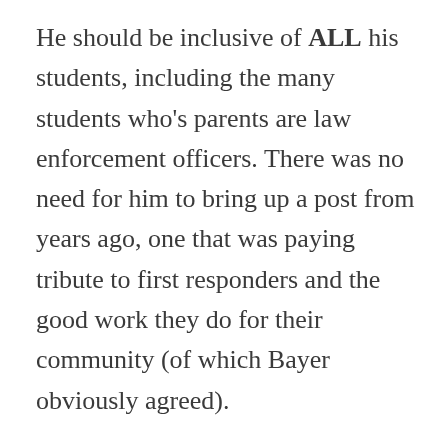He should be inclusive of ALL his students, including the many students who's parents are law enforcement officers. There was no need for him to bring up a post from years ago, one that was paying tribute to first responders and the good work they do for their community (of which Bayer obviously agreed).

And everyone in this thread that are putting down police officers I find it very